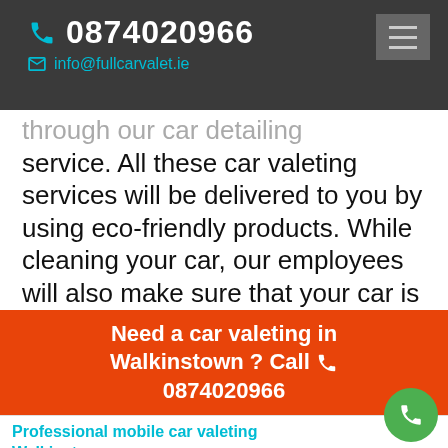0874020966 | info@fullcarvalet.ie
through our car detailing service. All these car valeting services will be delivered to you by using eco-friendly products. While cleaning your car, our employees will also make sure that your car is unharmed in every respect.
Need a car valeting in Walkinstown ? Call 0874020966
Professional mobile car valeting Walkinstown